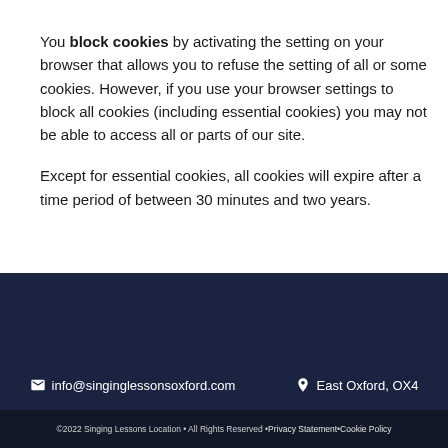Reading... | Print Page
You block cookies by activating the setting on your browser that allows you to refuse the setting of all or some cookies. However, if you use your browser settings to block all cookies (including essential cookies) you may not be able to access all or parts of our site.
Except for essential cookies, all cookies will expire after a time period of between 30 minutes and two years.
info@singinglessonsoxford.com   East Oxford, OX4   ©2022 Singing Lessons Location • All Rights Reserved • Privacy Statement • Cookie Policy